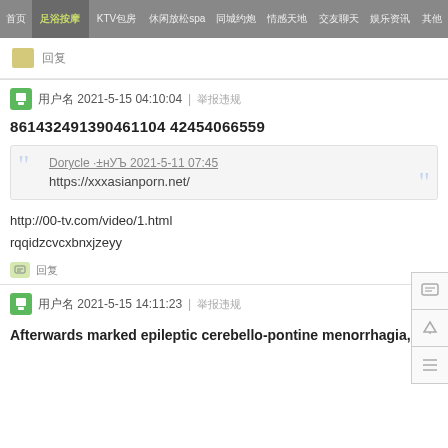首页 | 足浴按摩 | KTV包房 | 休闲放松spa | 同城约炮 | 情感天地 | 交友聊天 | 娱乐资讯 | 其他
回复
用户名 2021-5-15 04:10:04 | 举报违规
861432491390461104 42454066559
Dorycle ·±нУЪ 2021-5-11 07:45
https://xxxasianporn.net/
http://00-tv.com/video/1.html
rqqidzcvcxbnxjzeyy
回复
用户名 2021-5-15 14:11:23 | 举报违规
Afterwards marked epileptic cerebello-pontine menorrhagia,